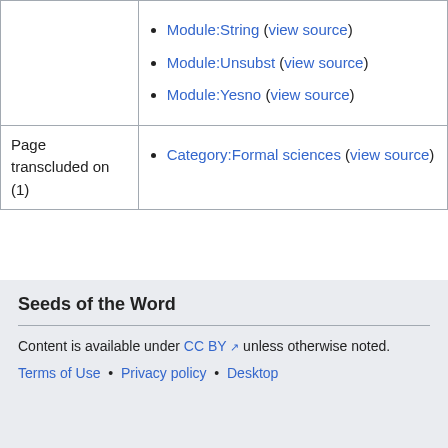|  | Module:String (view source)
Module:Unsubst (view source)
Module:Yesno (view source) |
| Page transcluded on (1) | Category:Formal sciences (view source) |
Seeds of the Word
Content is available under CC BY unless otherwise noted.
Terms of Use • Privacy policy • Desktop